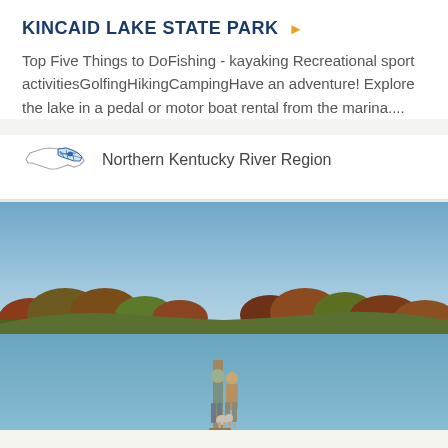KINCAID LAKE STATE PARK
Top Five Things to DoFishing - kayaking Recreational sport activitiesGolfingHikingCampingHave an adventure! Explore the lake in a pedal or motor boat rental from the marina....
Northern Kentucky River Region
[Figure (photo): Two people and a dog standing on a wooden dock extending into a calm lake, with autumn foliage trees lining the far shore and a clear blue sky above.]